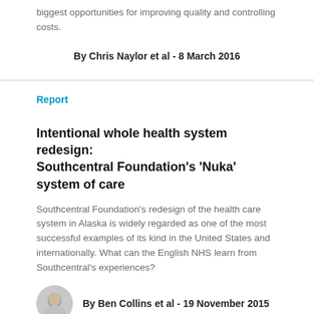biggest opportunities for improving quality and controlling costs.
By Chris Naylor et al - 8 March 2016
Report
Intentional whole health system redesign: Southcentral Foundation's 'Nuka' system of care
Southcentral Foundation's redesign of the health care system in Alaska is widely regarded as one of the most successful examples of its kind in the United States and internationally. What can the English NHS learn from Southcentral's experiences?
By Ben Collins et al - 19 November 2015